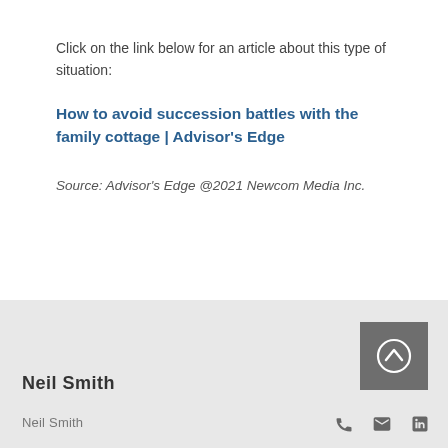Click on the link below for an article about this type of situation:
How to avoid succession battles with the family cottage | Advisor's Edge
Source: Advisor's Edge @2021 Newcom Media Inc.
Neil Smith